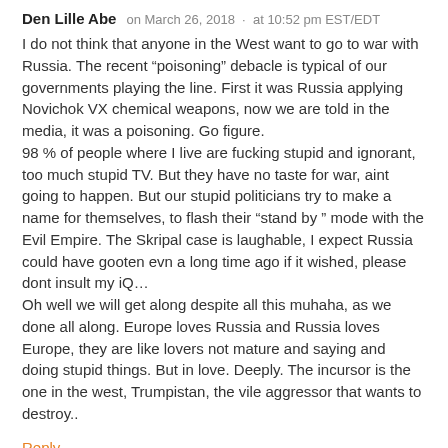Den Lille Abe   on March 26, 2018  ·  at 10:52 pm EST/EDT
I do not think that anyone in the West want to go to war with Russia. The recent "poisoning" debacle is typical of our governments playing the line. First it was Russia applying Novichok VX chemical weapons, now we are told in the media, it was a poisoning. Go figure.
98 % of people where I live are fucking stupid and ignorant, too much stupid TV. But they have no taste for war, aint going to happen. But our stupid politicians try to make a name for themselves, to flash their "stand by " mode with the Evil Empire. The Skripal case is laughable, I expect Russia could have gooten evn a long time ago if it wished, please dont insult my iQ…
Oh well we will get along despite all this muhaha, as we done all along. Europe loves Russia and Russia loves Europe, they are like lovers not mature and saying and doing stupid things. But in love. Deeply. The incursor is the one in the west, Trumpistan, the vile aggressor that wants to destroy..
Reply
Robert McMaster   on March 26, 2018  ·  at 10:53 pm EST/EDT